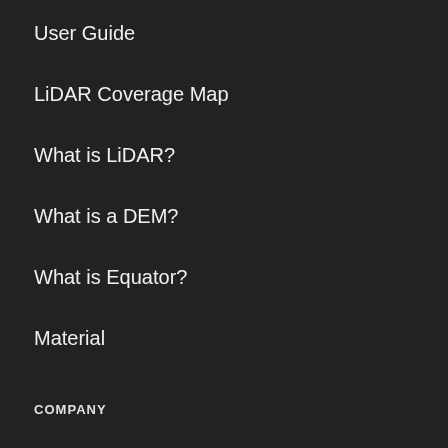User Guide
LiDAR Coverage Map
What is LiDAR?
What is a DEM?
What is Equator?
Material
COMPANY
Our Story
Contact
Careers